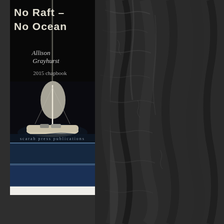[Figure (photo): Book cover: 'No Raft - No Ocean' by Allison Grayhurst, 2015 chapbook. Dark background with a sailboat image and blue stripe sections.]
[Figure (photo): Book cover: 'Surrogate Dharma' with white background and cursive title, partially visible with chains/rope imagery at bottom.]
[Figure (photo): Dark textured tree bark background filling the right side of the page.]